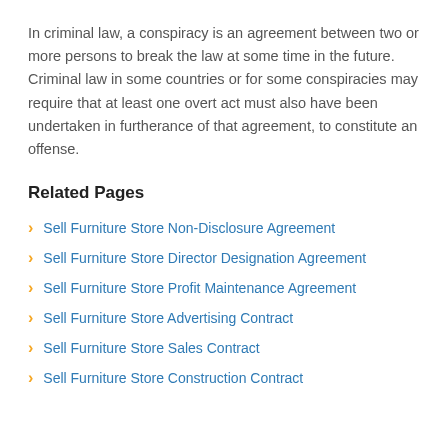In criminal law, a conspiracy is an agreement between two or more persons to break the law at some time in the future. Criminal law in some countries or for some conspiracies may require that at least one overt act must also have been undertaken in furtherance of that agreement, to constitute an offense.
Related Pages
Sell Furniture Store Non-Disclosure Agreement
Sell Furniture Store Director Designation Agreement
Sell Furniture Store Profit Maintenance Agreement
Sell Furniture Store Advertising Contract
Sell Furniture Store Sales Contract
Sell Furniture Store Construction Contract